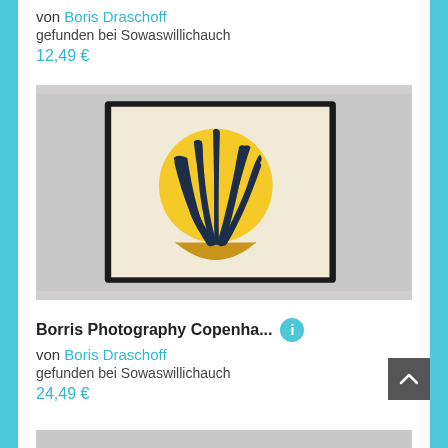von Boris Draschoff
gefunden bei Sowaswillichauch
12,49 €
[Figure (photo): Framed art print showing minimalist botanical illustration: dark navy leaf/plant stems rising from a golden/mustard bowl shape, with a large yellow circle in the background, on a cream background. The framed print is displayed on a light grey textured surface.]
Borris Photography Copenha...
von Boris Draschoff
gefunden bei Sowaswillichauch
24,49 €